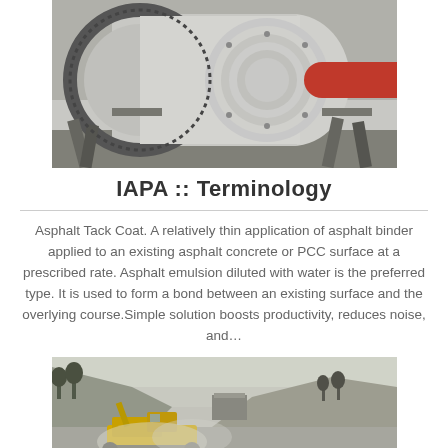[Figure (photo): Industrial ball mill or grinding machine, large cylindrical metal drum with gear ring, shown outdoors on metal frame supports. Red pipe/outlet visible at one end.]
IAPA :: Terminology
Asphalt Tack Coat. A relatively thin application of asphalt binder applied to an existing asphalt concrete or PCC surface at a prescribed rate. Asphalt emulsion diluted with water is the preferred type. It is used to form a bond between an existing surface and the overlying course.Simple solution boosts productivity, reduces noise, and...
[Figure (photo): Construction site photo showing heavy machinery (bulldozer or similar equipment, yellow) on a dusty/misty dirt road, with hillside and sparse trees in background.]